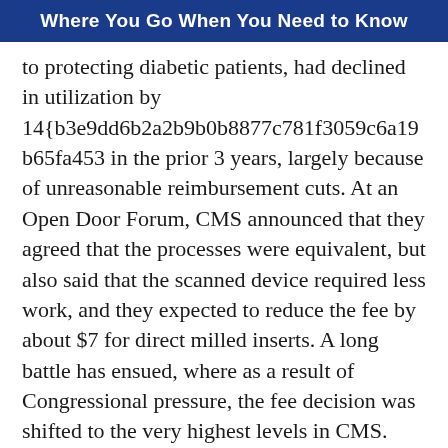Where You Go When You Need to Know
to protecting diabetic patients, had declined in utilization by 14{b3e9dd6b2a2b9b0b8877c781f3059c6a19b65fa453 in the prior 3 years, largely because of unreasonable reimbursement cuts. At an Open Door Forum, CMS announced that they agreed that the processes were equivalent, but also said that the scanned device required less work, and they expected to reduce the fee by about $7 for direct milled inserts. A long battle has ensued, where as a result of Congressional pressure, the fee decision was shifted to the very highest levels in CMS. Ultimately, CMS reached the right decision that as the processes were essentially equivalent, the fee needed to also be identical (one of the several arguments AOPA